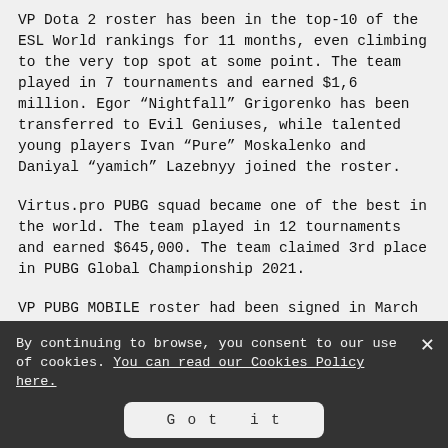VP Dota 2 roster has been in the top-10 of the ESL World rankings for 11 months, even climbing to the very top spot at some point. The team played in 7 tournaments and earned $1,6 million. Egor “Nightfall” Grigorenko has been transferred to Evil Geniuses, while talented young players Ivan “Pure” Moskalenko and Daniyal “yamich” Lazebnyy joined the roster.
Virtus.pro PUBG squad became one of the best in the world. The team played in 12 tournaments and earned $645,000. The team claimed 3rd place in PUBG Global Championship 2021.
VP PUBG MOBILE roster had been signed in March 2021 and had participated in 13 tournaments since then, earning $25,000. The club had announced the reset of the team in December 2021. The new roster featured a line up of strong individuals with a star player Dmytro “OldBoy” Bui being the
By continuing to browse, you consent to our use of cookies. You can read our Cookies Policy here.
Got it